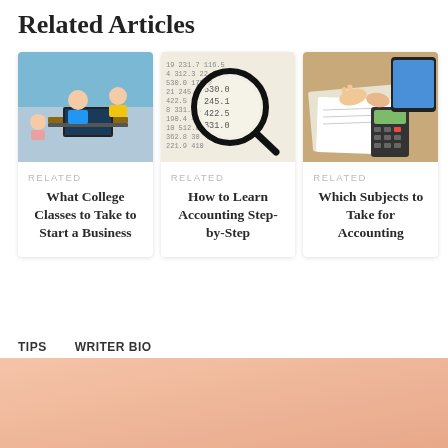Related Articles
[Figure (photo): Students in a classroom, one in a blue shirt with a laptop]
RELATED
What College Classes to Take to Start a Business
[Figure (photo): Magnifying glass over handwritten accounting numbers on paper]
RELATED
How to Learn Accounting Step-by-Step
[Figure (photo): Hands pointing at documents with a calculator and tablet on a desk]
RELATED
Which Subjects to Take for Accounting
TIPS
WRITER BIO